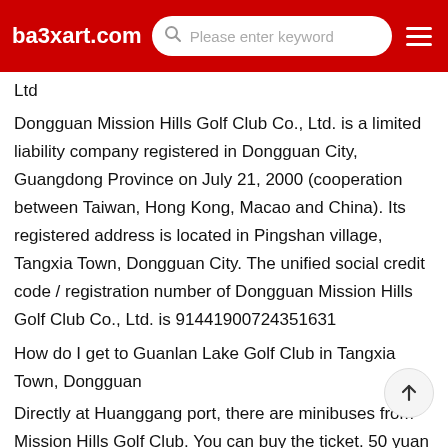ba3xart.com
Ltd
Dongguan Mission Hills Golf Club Co., Ltd. is a limited liability company registered in Dongguan City, Guangdong Province on July 21, 2000 (cooperation between Taiwan, Hong Kong, Macao and China). Its registered address is located in Pingshan village, Tangxia Town, Dongguan City. The unified social credit code / registration number of Dongguan Mission Hills Golf Club Co., Ltd. is 91441900724351631
How do I get to Guanlan Lake Golf Club in Tangxia Town, Dongguan
Directly at Huanggang port, there are minibuses from Mission Hills Golf Club. You can buy the ticket. 50 yuan (I don't know if there is any price increase now). But it has a lot of lines, because the 4 conference. It looks like you're sitting on the f